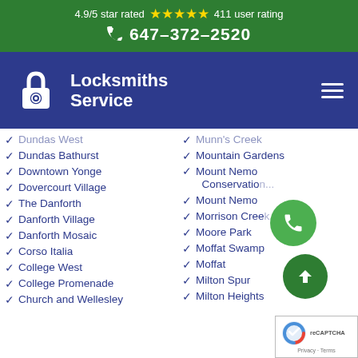4.9/5 star rated ★★★★★ 411 user rating
📞 647-372-2520
[Figure (logo): Locksmiths Service logo with padlock icon on dark blue nav bar with hamburger menu]
Dundas West
Munn's Creek
Dundas Bathurst
Mountain Gardens
Downtown Yonge
Mount Nemo Conservatio...
Dovercourt Village
Mount Nemo
The Danforth
Morrison Cree...
Danforth Village
Moore Park
Danforth Mosaic
Moffat Swamp
Corso Italia
Moffat
College West
Milton Spur
College Promenade
Milton Heights
Church and Wellesley